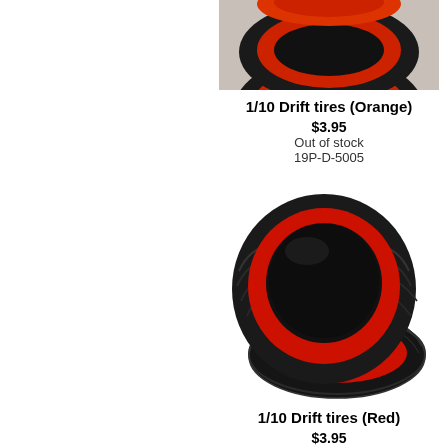[Figure (photo): Top portion of orange/red drift tires (cropped at top of page)]
1/10 Drift tires (Orange)
$3.95
Out of stock
19P-D-5005
[Figure (photo): Two black RC drift tires with red insert/foam, stacked, on white background]
1/10 Drift tires (Red)
$3.95
Out of stock
19P-D-5008